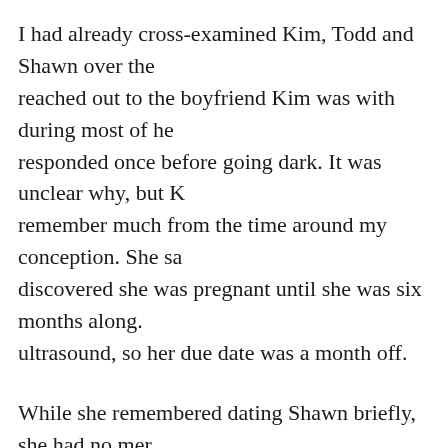I had already cross-examined Kim, Todd and Shawn over the reached out to the boyfriend Kim was with during most of he responded once before going dark. It was unclear why, but K remember much from the time around my conception. She sa discovered she was pregnant until she was six months along. ultrasound, so her due date was a month off.
While she remembered dating Shawn briefly, she had no mer him when she was pregnant in the summer of 1984. "I didn't candidate. He was a really nice guy. I would have told him," made sense. If anything had made sense, I maybe wouldn't ha adoption."
After everything, it seemed my misattributed paternity came memories and no one bothering to do the math. I was exhaus mostly sad—for me, for Todd, for Shawn. The emotional roll